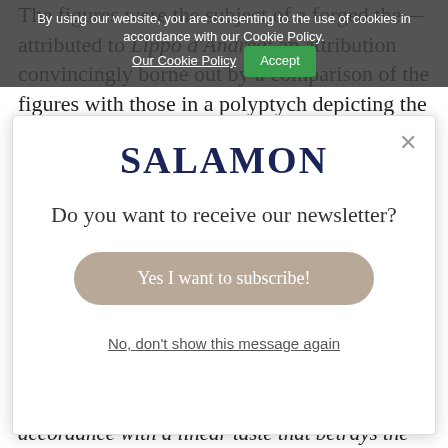The figures were the subject of a forged the— attributed to Lippo d'Andrea; an attribution convincingly borne out by a comparison of the figures with those in a polyptych depicting the Virgin
By using our website, you are consenting to the use of cookies in accordance with our Cookie Policy. Our Cookie Policy  Accept
SALAMON
Do you want to receive our newsletter?
Yes I want to subscribe!
No, don't show this message again
accordance with a linear taste that betrays the